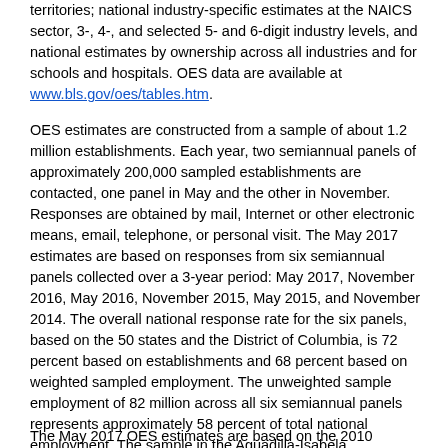territories; national industry-specific estimates at the NAICS sector, 3-, 4-, and selected 5- and 6-digit industry levels, and national estimates by ownership across all industries and for schools and hospitals. OES data are available at www.bls.gov/oes/tables.htm.
OES estimates are constructed from a sample of about 1.2 million establishments. Each year, two semiannual panels of approximately 200,000 sampled establishments are contacted, one panel in May and the other in November. Responses are obtained by mail, Internet or other electronic means, email, telephone, or personal visit. The May 2017 estimates are based on responses from six semiannual panels collected over a 3-year period: May 2017, November 2016, May 2016, November 2015, May 2015, and November 2014. The overall national response rate for the six panels, based on the 50 states and the District of Columbia, is 72 percent based on establishments and 68 percent based on weighted sampled employment. The unweighted sample employment of 82 million across all six semiannual panels represents approximately 58 percent of total national employment. The sample in the Aguadilla-Isabela Metropolitan Statistical Area included 722 establishments with a response rate of 84 percent. For more information about OES concepts and methodology, go to www.bls.gov/oes/current/oes_tec.htm.
The May 2017 OES estimates are based on the 2010 Standard...